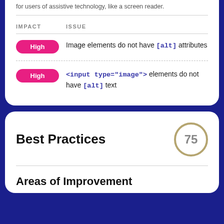for users of assistive technology, like a screen reader.
| IMPACT | ISSUE |
| --- | --- |
| High | Image elements do not have [alt] attributes |
| High | <input type="image"> elements do not have [alt] text |
Best Practices
Areas of Improvement